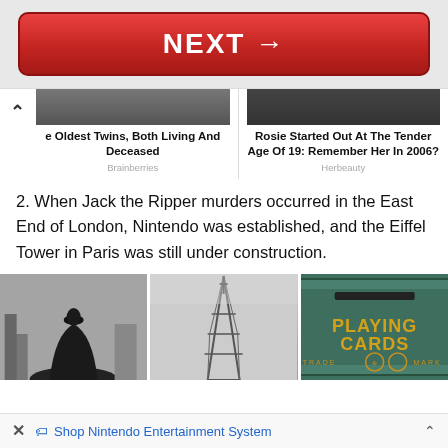[Figure (screenshot): Red NEXT button with arrow]
[Figure (screenshot): Two article card thumbnails: 'e Oldest Twins, Both Living And Deceased' (Brainberries) and 'Rosie Started Out At The Tender Age Of 19: Remember Her In 2006?' (Herbeauty)]
2. When Jack the Ripper murders occurred in the East End of London, Nintendo was established, and the Eiffel Tower in Paris was still under construction.
[Figure (photo): Three images: black and white photo of a cloaked figure, black and white photo of Eiffel Tower under construction, color photo of a Nintendo Playing Cards sign]
Shop Nintendo Entertainment System